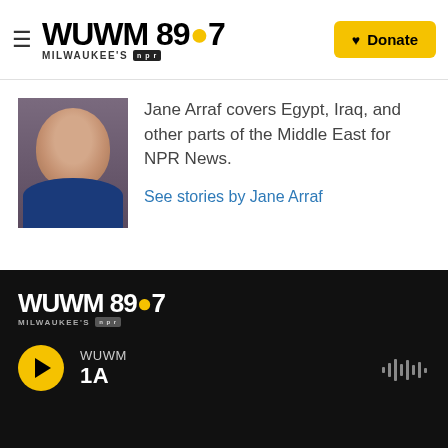WUWM 89.7 MILWAUKEE'S NPR — Donate
[Figure (photo): Headshot photo of Jane Arraf]
Jane Arraf covers Egypt, Iraq, and other parts of the Middle East for NPR News.
See stories by Jane Arraf
WUWM 89.7 MILWAUKEE'S NPR — WUWM 1A